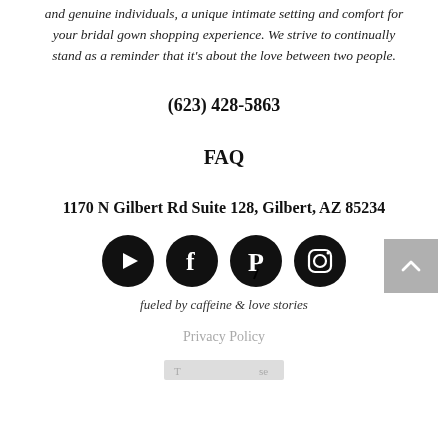and genuine individuals, a unique intimate setting and comfort for your bridal gown shopping experience. We strive to continually stand as a reminder that it's about the love between two people.
(623) 428-5863
FAQ
1170 N Gilbert Rd Suite 128, Gilbert, AZ 85234
[Figure (illustration): Four circular social media icons: YouTube, Facebook, Pinterest, Instagram, all black with white symbols]
fueled by caffeine & love stories
Privacy Policy
[Figure (illustration): Back to top button, gray square with upward chevron arrow]